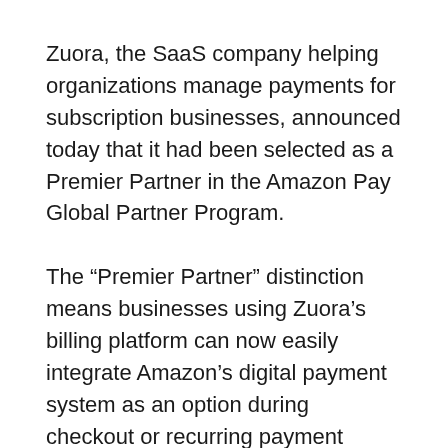Zuora, the SaaS company helping organizations manage payments for subscription businesses, announced today that it had been selected as a Premier Partner in the Amazon Pay Global Partner Program.
The “Premier Partner” distinction means businesses using Zuora’s billing platform can now easily integrate Amazon’s digital payment system as an option during checkout or recurring payment processes.
The strategic rationale for Zuora is clear, as the